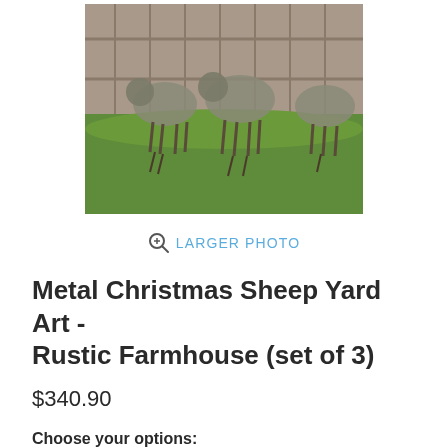[Figure (photo): Product photo of metal Christmas sheep yard art decorations standing on grass in front of a wooden fence background. Three rustic metal sheep silhouettes visible on green lawn.]
LARGER PHOTO
Metal Christmas Sheep Yard Art - Rustic Farmhouse (set of 3)
$340.90
Choose your options:
(KAL) Delivery Method:
threshold delivery ($90)